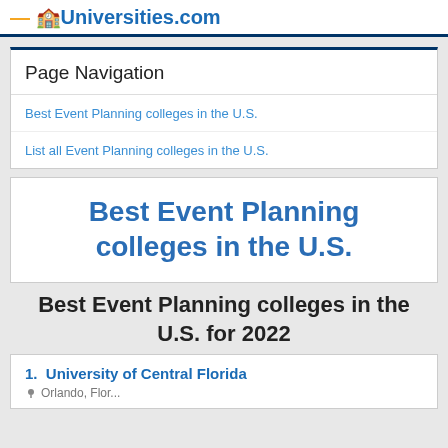Universities.com
Page Navigation
Best Event Planning colleges in the U.S.
List all Event Planning colleges in the U.S.
Best Event Planning colleges in the U.S.
Best Event Planning colleges in the U.S. for 2022
1. University of Central Florida